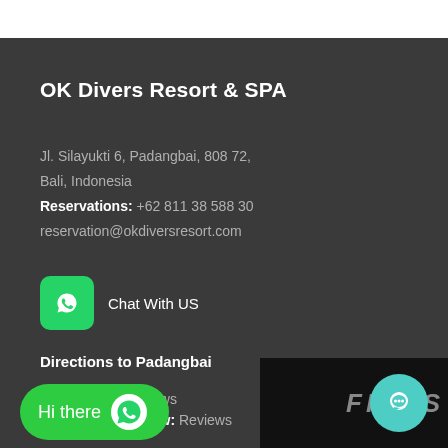OK Divers Resort & SPA
Jl. Silayukti 6, Padangbai, 808 72,
Bali, Indonesia
Reservations: +62 811 38 588 30
reservation@okdiversresort.com
[Figure (logo): WhatsApp icon (green rounded square) with Chat With US label]
Directions to Padangbai
Tripadvisor: Reviews
WorldDivingReview: Reviews
[Figure (illustration): Floating green WhatsApp button with Hi there text and WhatsApp logo]
[Figure (illustration): Teal circular chat bubble button, bottom right]
[Figure (photo): Black bottom strip with FINNS text partially visible]